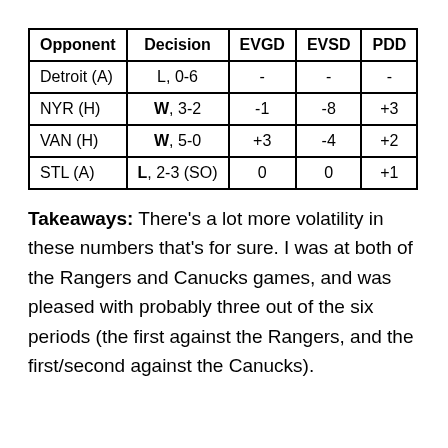| Opponent | Decision | EVGD | EVSD | PDD |
| --- | --- | --- | --- | --- |
| Detroit (A) | L, 0-6 | - | - | - |
| NYR (H) | W, 3-2 | -1 | -8 | +3 |
| VAN (H) | W, 5-0 | +3 | -4 | +2 |
| STL (A) | L, 2-3 (SO) | 0 | 0 | +1 |
Takeaways: There's a lot more volatility in these numbers that's for sure. I was at both of the Rangers and Canucks games, and was pleased with probably three out of the six periods (the first against the Rangers, and the first/second against the Canucks).